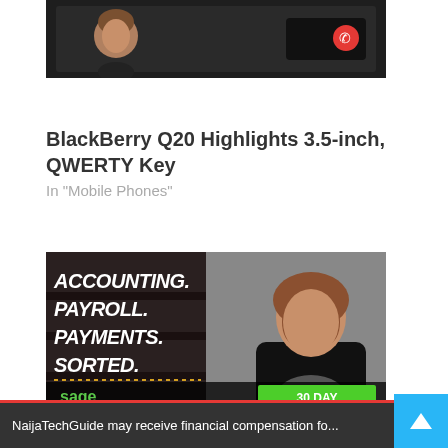[Figure (screenshot): Partial screenshot of a BlackBerry phone screen showing a contact/call interface on a dark background]
BlackBerry Q20 Highlights 3.5-inch, QWERTY Key
In "Mobile Phones"
[Figure (photo): Sage Business Cloud advertisement showing a woman in a black dress with text: ACCOUNTING. PAYROLL. PAYMENTS. SORTED. with sage Business Cloud branding and a 30 DAY FREE TRIAL button]
NaijaTechGuide may receive financial compensation fo...